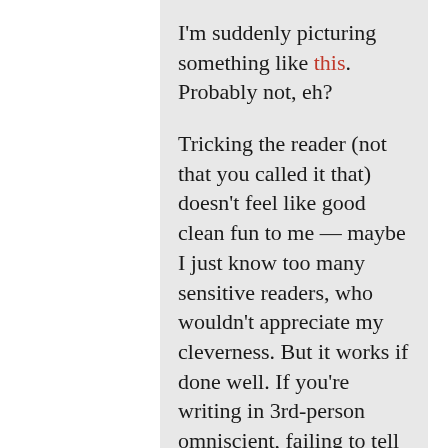I'm suddenly picturing something like this. Probably not, eh?

Tricking the reader (not that you called it that) doesn't feel like good clean fun to me — maybe I just know too many sensitive readers, who wouldn't appreciate my cleverness. But it works if done well. If you're writing in 3rd-person omniscient, failing to tell the reader